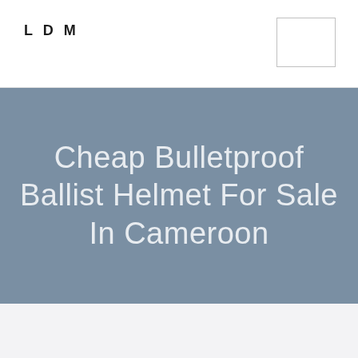LDM
Cheap Bulletproof Ballist Helmet For Sale In Cameroon